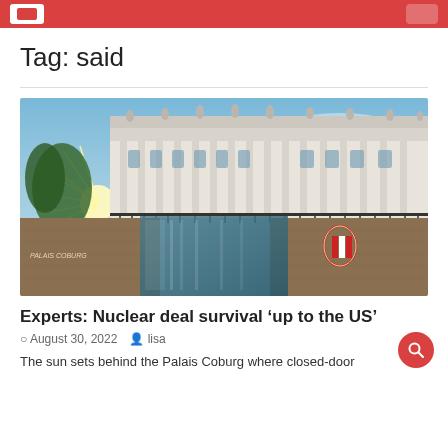Tag: said
[Figure (photo): Exterior photo of Palais Coburg building in Vienna, a grand neoclassical building with columns and statues, with sunburst visible behind trees on the left, and a modern glass entrance at ground level with a red-white-red Austrian emblem.]
Experts: Nuclear deal survival ‘up to the US’
○ August 30, 2022  👤 lisa
The sun sets behind the Palais Coburg where closed-door